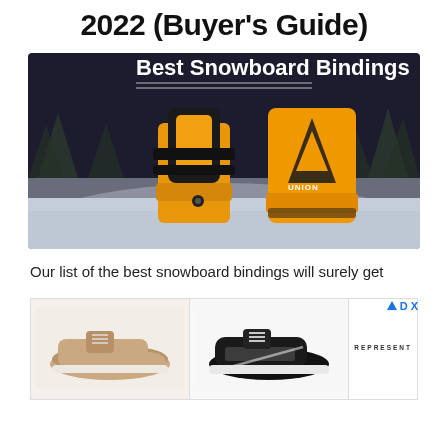2022 (Buyer's Guide)
[Figure (photo): Hero banner image showing snowboard bindings (yellow and black Union bindings) on a snowy slope with trees in the background. Bold white text reads 'Best Snowboard Bindings' with a horizontal rule above and below.]
Our list of the best snowboard bindings will surely get
[Figure (photo): Advertisement showing two sneaker images side by side: a tan/beige suede sneaker on the left, a black and white low-top sneaker in the center, and a 'Represent' brand logo box on the right. An ad tag with triangle icon and 'D X' is shown top right.]